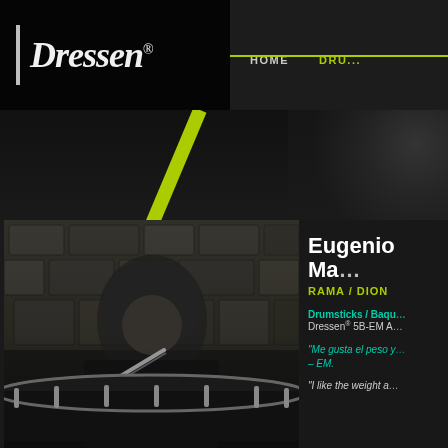Dressen® | HOME | DRU...
[Figure (photo): Drummer with long hair playing drums in front of a stone wall, holding drumsticks, black shirt]
Eugenio Ma...
RAMA / DION
Drumsticks / Baqu... Dressen® 5B-EM A...
"Me gusta el peso y... - EM.
"I like the weight a...